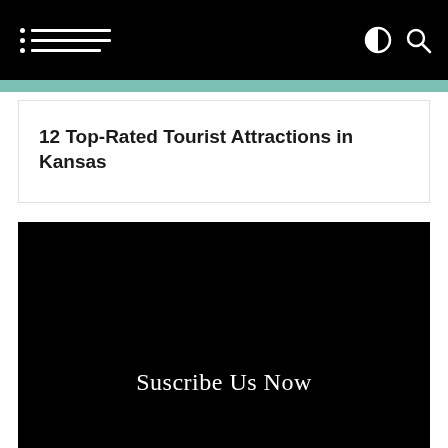Navigation bar with hamburger menu icon and contrast/search icons
12 Top-Rated Tourist Attractions in Kansas
[Figure (other): Black promotional banner with white serif text reading 'Suscribe Us Now']